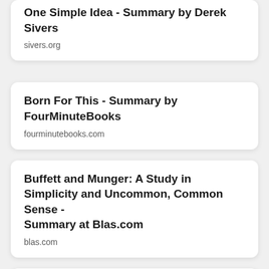One Simple Idea - Summary by Derek Sivers
sivers.org
Born For This - Summary by FourMinuteBooks
fourminutebooks.com
Buffett and Munger: A Study in Simplicity and Uncommon, Common Sense - Summary at Blas.com
blas.com
Built To Last - Summary by